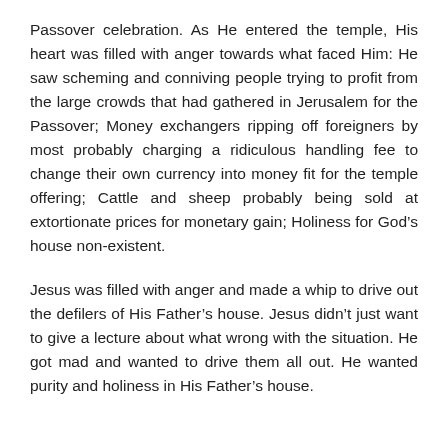Passover celebration. As He entered the temple, His heart was filled with anger towards what faced Him: He saw scheming and conniving people trying to profit from the large crowds that had gathered in Jerusalem for the Passover; Money exchangers ripping off foreigners by most probably charging a ridiculous handling fee to change their own currency into money fit for the temple offering; Cattle and sheep probably being sold at extortionate prices for monetary gain; Holiness for God’s house non-existent.
Jesus was filled with anger and made a whip to drive out the defilers of His Father’s house. Jesus didn’t just want to give a lecture about what wrong with the situation. He got mad and wanted to drive them all out. He wanted purity and holiness in His Father’s house.